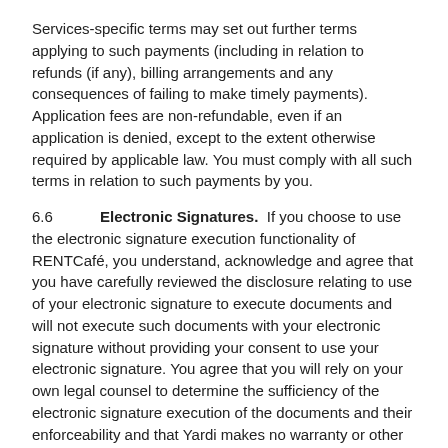Services-specific terms may set out further terms applying to such payments (including in relation to refunds (if any), billing arrangements and any consequences of failing to make timely payments). Application fees are non-refundable, even if an application is denied, except to the extent otherwise required by applicable law. You must comply with all such terms in relation to such payments by you.
6.6    Electronic Signatures.  If you choose to use the electronic signature execution functionality of RENTCafé, you understand, acknowledge and agree that you have carefully reviewed the disclosure relating to use of your electronic signature to execute documents and will not execute such documents with your electronic signature without providing your consent to use your electronic signature. You agree that you will rely on your own legal counsel to determine the sufficiency of the electronic signature execution of the documents and their enforceability and that Yardi makes no warranty or other representation with respect to the sufficiency of the electronic signature execution of the documents under applicable international, national, federal, state, provincial or local laws or regulations.